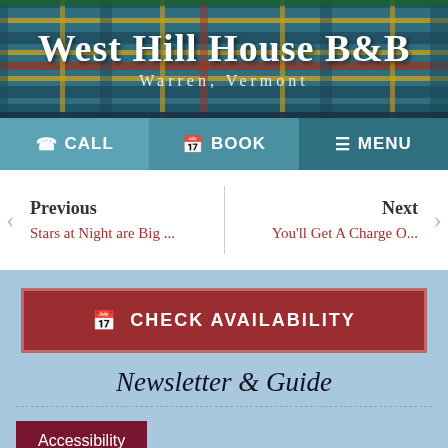West Hill House B&B
Warren, Vermont
CALL   BOOK   MENU
Previous
Stars at Night are Big ...   You'll Get A Charge O...
Next
[Figure (screenshot): Check Availability button in dark red with calendar icon]
Newsletter & Guide
Accessibility
Updates from our inn on special weekends, upcoming events, and more. Plus get our ULTIMATE guide to the Mad River Valley and